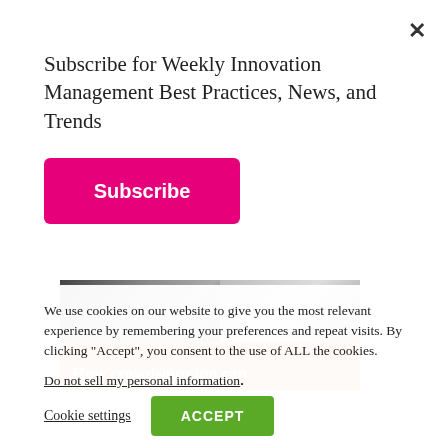Subscribe for Weekly Innovation Management Best Practices, News, and Trends
Subscribe
[Figure (photo): Article card with orange/salmon background showing a crowd of people and an office scene, with text 'How crowdsourcing can...']
How crowdsourcing can
We use cookies on our website to give you the most relevant experience by remembering your preferences and repeat visits. By clicking “Accept”, you consent to the use of ALL the cookies.
Do not sell my personal information.
Cookie settings
ACCEPT